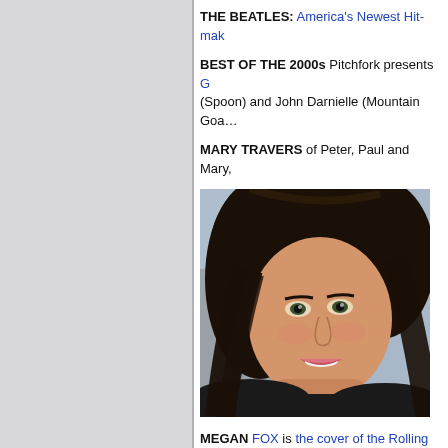THE BEATLES: America's Newest Hit-make…
BEST OF THE 2000s Pitchfork presents G… (Spoon) and John Darnielle (Mountain Goa…
MARY TRAVERS of Peter, Paul and Mary,…
[Figure (photo): Portrait photo of Megan Fox, a young woman with dark hair smiling, wearing a black outfit, with a blurred background.]
MEGAN FOX is the cover of the Rolling Sto… accompanying interview, including revealin… Brian Austin Green.
HENRY GIBSON, a wry comic character ac… "Nashville" and "Boston Legal," died Monda… was 73. I hate Illinois Nazis, but Gibson wa…